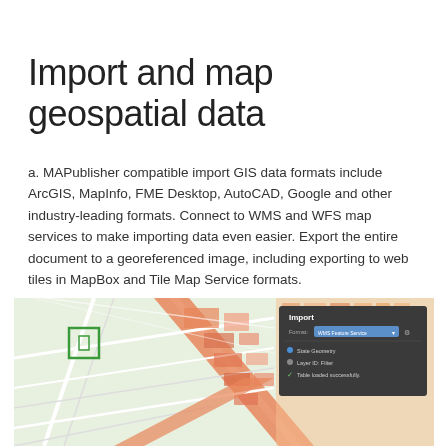Import and map geospatial data
a. MAPublisher compatible import GIS data formats include ArcGIS, MapInfo, FME Desktop, AutoCAD, Google and other industry-leading formats. Connect to WMS and WFS map services to make importing data even easier. Export the entire document to a georeferenced image, including exporting to web tiles in MapBox and Tile Map Service formats.
[Figure (screenshot): Screenshot showing a map with street/urban geospatial data displayed in MAPublisher, with an Import dialog box overlay showing WMS Feature Service format selected and options for State Geometry, Layer ID Filter, and a success message 'Table loaded successfully'.]